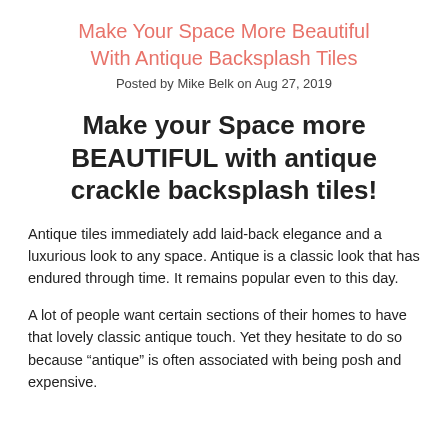Make Your Space More Beautiful With Antique Backsplash Tiles
Posted by Mike Belk on Aug 27, 2019
Make your Space more BEAUTIFUL with antique crackle backsplash tiles!
Antique tiles immediately add laid-back elegance and a luxurious look to any space. Antique is a classic look that has endured through time. It remains popular even to this day.
A lot of people want certain sections of their homes to have that lovely classic antique touch. Yet they hesitate to do so because “antique” is often associated with being posh and expensive.